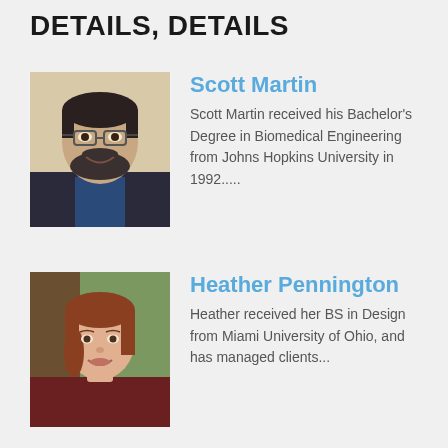DETAILS, DETAILS
[Figure (photo): Headshot of Scott Martin, a bearded man with glasses smiling]
Scott Martin
Scott Martin received his Bachelor's Degree in Biomedical Engineering from Johns Hopkins University in 1992.....
[Figure (photo): Headshot of Heather Pennington, a smiling woman with reddish-brown hair]
Heather Pennington
Heather received her BS in Design from Miami University of Ohio, and has managed clients...